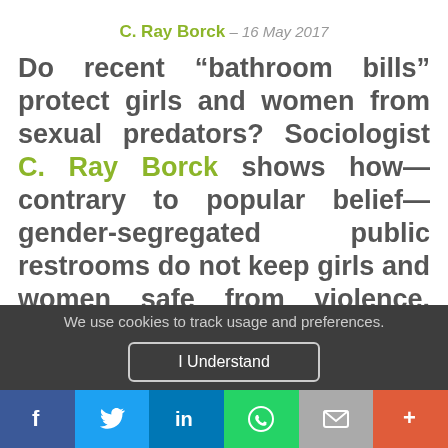C. Ray Borck - 16 May 2017
Do recent “bathroom bills” protect girls and women from sexual predators? Sociologist C. Ray Borck shows how—contrary to popular belief—gender-segregated public restrooms do not keep girls and women safe from violence. Public restrooms play an
We use cookies to track usage and preferences.
I Understand
[Figure (other): Social share bar with Facebook, Twitter, LinkedIn, WhatsApp, Email, and More buttons]